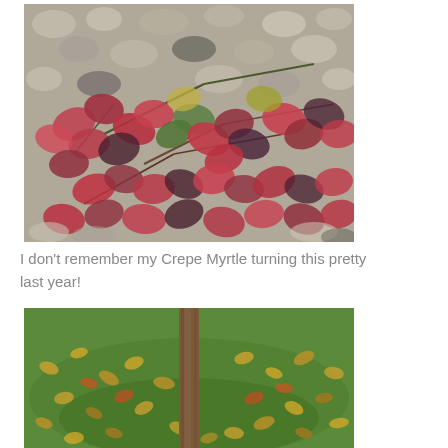[Figure (photo): Close-up photo of Crepe Myrtle leaves turning red and burgundy in autumn, with grey and white stones/pebbles visible in the background.]
I don't remember my Crepe Myrtle turning this pretty last year!
[Figure (photo): Photo of a tree trunk base on green grass, surrounded by fallen yellow and brown autumn leaves scattered in a circular pattern around it.]